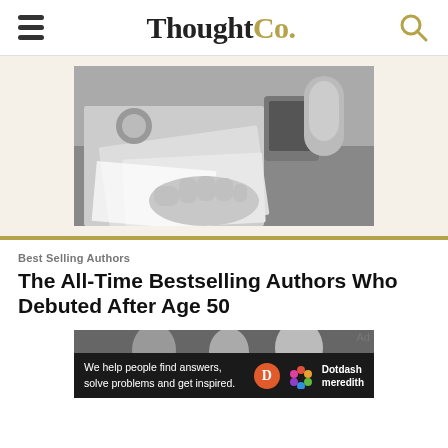ThoughtCo.
[Figure (photo): Black and white photo of hands sorting through papers on a desk]
Best Selling Authors
The All-Time Bestselling Authors Who Debuted After Age 50
[Figure (photo): Black and white photo of people at an event, partially visible]
We help people find answers, solve problems and get inspired. Dotdash meredith